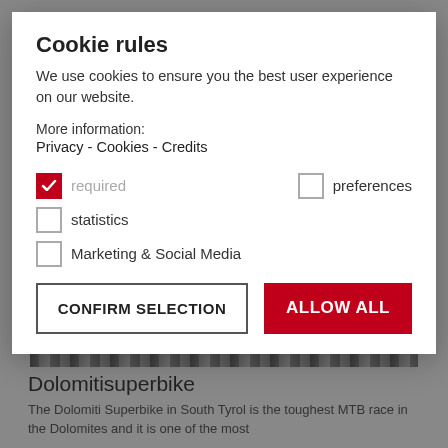Cookie rules
We use cookies to ensure you the best user experience on our website.
More information:
Privacy - Cookies - Credits
required (checked)
preferences (unchecked)
statistics (unchecked)
Marketing & Social Media (unchecked)
CONFIRM SELECTION
ALLOW ALL
Dolomitisuperbike
The Dolomiti Superbike in South Tyrol is the toughest MTB race in the Dolomites and it is one of the most